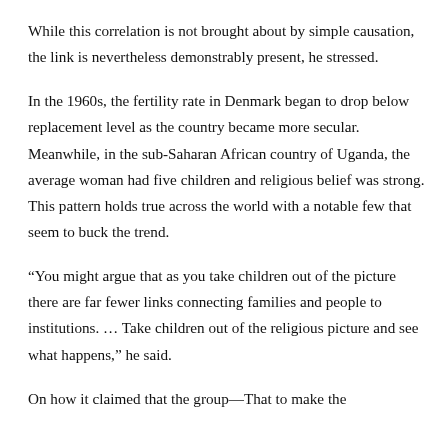While this correlation is not brought about by simple causation, the link is nevertheless demonstrably present, he stressed.
In the 1960s, the fertility rate in Denmark began to drop below replacement level as the country became more secular. Meanwhile, in the sub-Saharan African country of Uganda, the average woman had five children and religious belief was strong. This pattern holds true across the world with a notable few that seem to buck the trend.
“You might argue that as you take children out of the picture there are far fewer links connecting families and people to institutions. … Take children out of the religious picture and see what happens,” he said.
On how it claimed that the group—That to make the